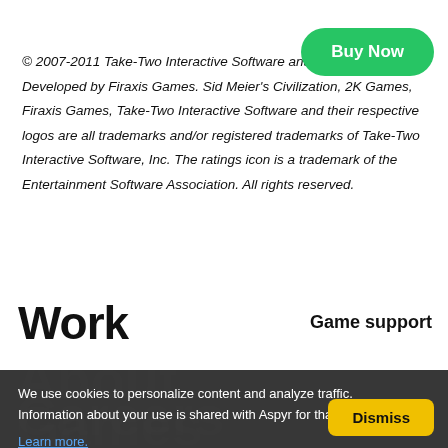[Figure (other): Green 'Buy Now' rounded button in top right area]
© 2007-2011 Take-Two Interactive Software and its subsidiaries. Developed by Firaxis Games. Sid Meier's Civilization, 2K Games, Firaxis Games, Take-Two Interactive Software and their respective logos are all trademarks and/or registered trademarks of Take-Two Interactive Software, Inc. The ratings icon is a trademark of the Entertainment Software Association. All rights reserved.
Work
Game support
About
Games
Careers
We use cookies to personalize content and analyze traffic. Information about your use is shared with Aspyr for that purpose.
Learn more.
[Figure (other): Yellow 'Dismiss' button for cookie banner]